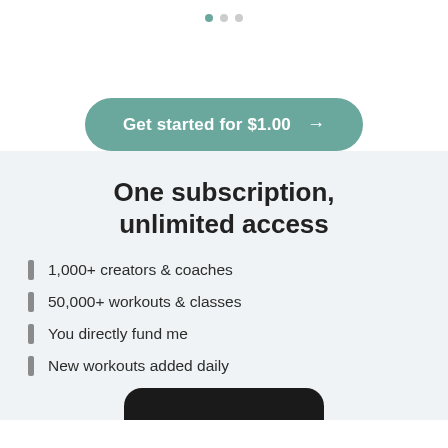[Figure (other): Three pagination dots, the first filled teal and two grey]
[Figure (other): Teal rounded rectangle CTA button reading 'Get started for $1.00' with arrow]
One subscription, unlimited access
1,000+ creators & coaches
50,000+ workouts & classes
You directly fund me
New workouts added daily
[Figure (screenshot): Bottom edge of a dark mobile phone screen stub]